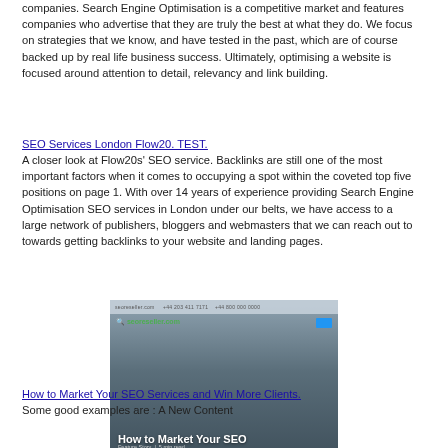companies. Search Engine Optimisation is a competitive market and features companies who advertise that they are truly the best at what they do. We focus on strategies that we know, and have tested in the past, which are of course backed up by real life business success. Ultimately, optimising a website is focused around attention to detail, relevancy and link building.
SEO Services London Flow20. TEST.
A closer look at Flow20s' SEO service. Backlinks are still one of the most important factors when it comes to occupying a spot within the coveted top five positions on page 1. With over 14 years of experience providing Search Engine Optimisation SEO services in London under our belts, we have access to a large network of publishers, bloggers and webmasters that we can reach out to towards getting backlinks to your website and landing pages.
[Figure (screenshot): Screenshot of seoreseller.com article page titled 'How to Market Your SEO Services (and Win More Clients)' showing a desk scene with notebooks and a person holding a phone.]
How to Market Your SEO Services and Win More Clients.
Some good examples are : A New Content